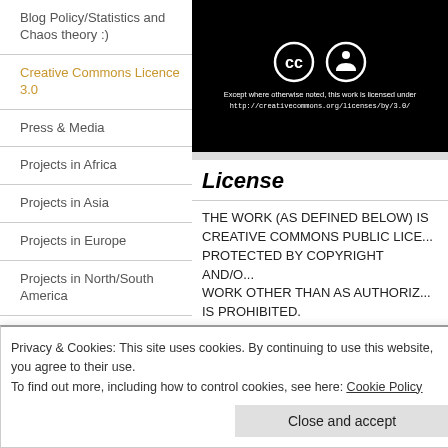Blog Policy/Statistics and Chaos theory :)
Creative Commons Licence 3.0
Press & Media
Projects in Africa
Projects in Asia
Projects in Europe
Projects in North/South America
Social Entreprenuership 20 yrs+
[Figure (illustration): Creative Commons license badge on black background showing CC and person icons with text: Except where otherwise noted, this work is licensed under http://creativecommons.org/licenses/by/3.0/]
License
THE WORK (AS DEFINED BELOW) IS PROVIDED UNDER A CREATIVE COMMONS PUBLIC LICENSE ("CCPL" OR "LICENSE"). THE WORK IS PROTECTED BY COPYRIGHT AND/OR OTHER APPLICABLE LAW. ANY USE OF THE WORK OTHER THAN AS AUTHORIZED UNDER THIS LICENSE OR COPYRIGHT LAW IS PROHIBITED.
BY EXERCISING ANY RIGHTS TO THE WORK PROVIDED HERE, YOU ACCEPT AND AGREE TO BE BOUND BY THE TERMS OF THIS LICENSE. TO THE EXTENT THIS LICENSE MAY BE CONSIDERED TO BE A CONTRACT, THE LICENSOR GRANTS YOU THE RIGHTS CONTAINED HERE IN CONSIDERATION OF YOUR ACCEPTANCE OF SUCH TERMS AND CONDITIONS.
Privacy & Cookies: This site uses cookies. By continuing to use this website, you agree to their use.
To find out more, including how to control cookies, see here: Cookie Policy
Close and accept